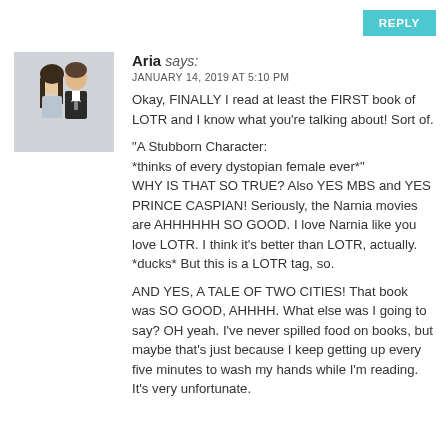REPLY
[Figure (photo): Profile photo of a couple — a woman with long dark hair and a man in a dark suit jacket, posed together in front of a light background.]
Aria says:
JANUARY 14, 2019 AT 5:10 PM
Okay, FINALLY I read at least the FIRST book of LOTR and I know what you're talking about! Sort of.
"A Stubborn Character:
*thinks of every dystopian female ever*"
WHY IS THAT SO TRUE? Also YES MBS and YES PRINCE CASPIAN! Seriously, the Narnia movies are AHHHHHH SO GOOD. I love Narnia like you love LOTR. I think it's better than LOTR, actually. *ducks* But this is a LOTR tag, so.

AND YES, A TALE OF TWO CITIES! That book was SO GOOD, AHHHH. What else was I going to say? OH yeah. I've never spilled food on books, but maybe that's just because I keep getting up every five minutes to wash my hands while I'm reading. It's very unfortunate.